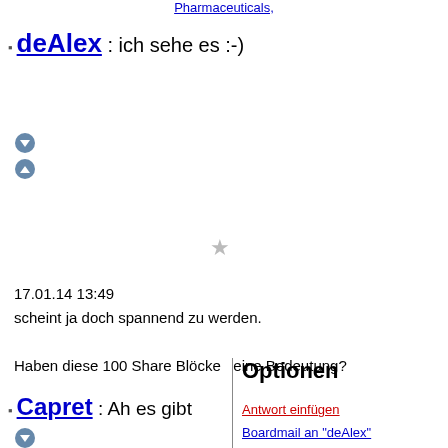Pharmaceuticals,
deAlex : ich sehe es :-)
17.01.14 13:49
scheint ja doch spannend zu werden.

Haben diese 100 Share Blöcke  eine Bedeutung?
Optionen
Antwort einfügen
Boardmail an "deAlex"
Wertpapier: ARIAD Pharmaceuticals,
Capret : Ah es gibt